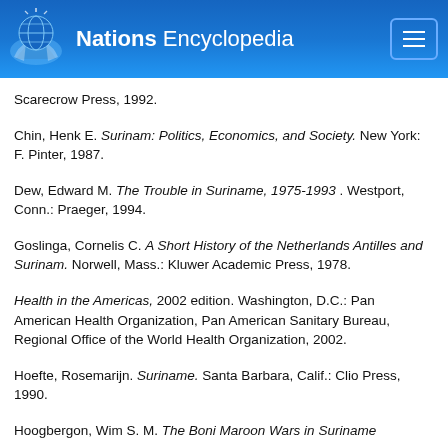Nations Encyclopedia
...and Scarecrow Press, 1992.
Chin, Henk E. Surinam: Politics, Economics, and Society. New York: F. Pinter, 1987.
Dew, Edward M. The Trouble in Suriname, 1975-1993. Westport, Conn.: Praeger, 1994.
Goslinga, Cornelis C. A Short History of the Netherlands Antilles and Surinam. Norwell, Mass.: Kluwer Academic Press, 1978.
Health in the Americas, 2002 edition. Washington, D.C.: Pan American Health Organization, Pan American Sanitary Bureau, Regional Office of the World Health Organization, 2002.
Hoefte, Rosemarijn. Suriname. Santa Barbara, Calif.: Clio Press, 1990.
Hoogbergen, Wim S. M. The Boni Maroon Wars in Suriname...